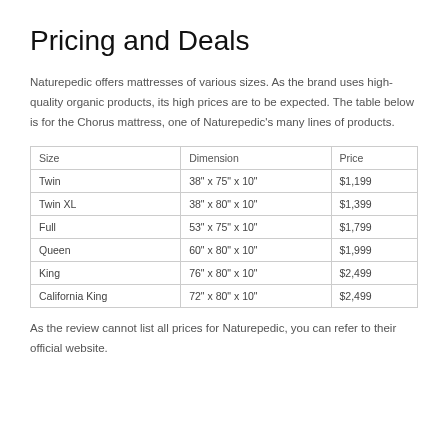Pricing and Deals
Naturepedic offers mattresses of various sizes. As the brand uses high-quality organic products, its high prices are to be expected. The table below is for the Chorus mattress, one of Naturepedic's many lines of products.
| Size | Dimension | Price |
| --- | --- | --- |
| Twin | 38" x 75" x 10" | $1,199 |
| Twin XL | 38" x 80" x 10" | $1,399 |
| Full | 53" x 75" x 10" | $1,799 |
| Queen | 60" x 80" x 10" | $1,999 |
| King | 76" x 80" x 10" | $2,499 |
| California King | 72" x 80" x 10" | $2,499 |
As the review cannot list all prices for Naturepedic, you can refer to their official website.